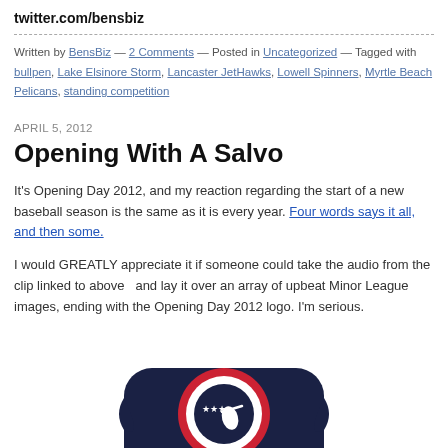twitter.com/bensbiz
Written by BensBiz — 2 Comments — Posted in Uncategorized — Tagged with bullpen, Lake Elsinore Storm, Lancaster JetHawks, Lowell Spinners, Myrtle Beach Pelicans, standing competition
APRIL 5, 2012
Opening With A Salvo
It's Opening Day 2012, and my reaction regarding the start of a new baseball season is the same as it is every year. Four words says it all, and then some.
I would GREATLY appreciate it if someone could take the audio from the clip linked to above  and lay it over an array of upbeat Minor League images, ending with the Opening Day 2012 logo. I'm serious.
[Figure (logo): Minor League Baseball logo — partial view showing red, white, and dark blue circular logo with baseball batter silhouette and stars]